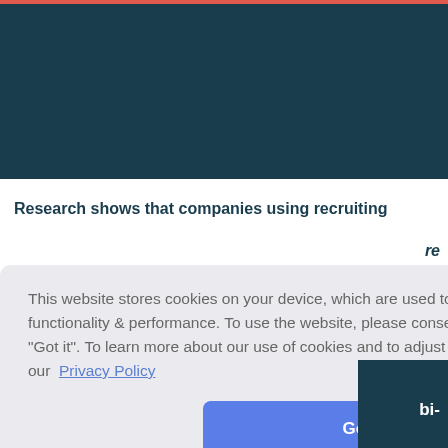Research shows that companies using recruiting
re
This website stores cookies on your device, which are used to improve user experience, functionality & performance. To use the website, please consent to the use of cookies by clicking "Got it". To learn more about our use of cookies and to adjust your browser/cookie settings, read our Privacy Policy
Got it!
bi-